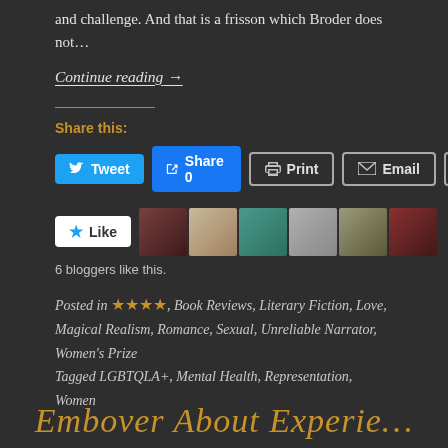and challenge. And that is a frisson which Broder does not...
Continue reading →
Share this:
Tweet | Share 0 | Print | Email | More
[Figure (other): Like button with 6 blogger avatar photos]
6 bloggers like this.
Posted in ★★★★, Book Reviews, Literary Fiction, Love, Magical Realism, Romance, Sexual, Unreliable Narrator, Women's Prize
Tagged LGBTQLA+, Mental Health, Representation, Women
Embover About Experie...